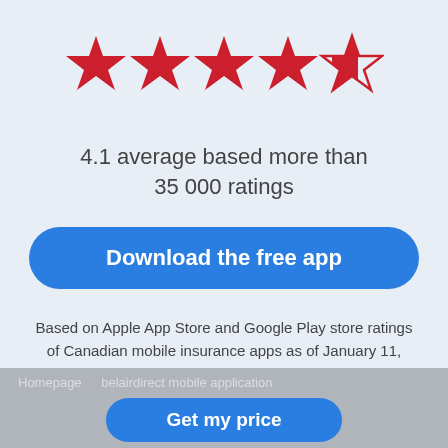[Figure (illustration): Five-star rating display: four full red stars and one partially filled red star (about 1/4 filled), indicating a 4.1 rating]
4.1 average based more than 35 000 ratings
Download the free app
Based on Apple App Store and Google Play store ratings of Canadian mobile insurance apps as of January 11, 2022.
Homepage > belairdirect mobile application | Get my price